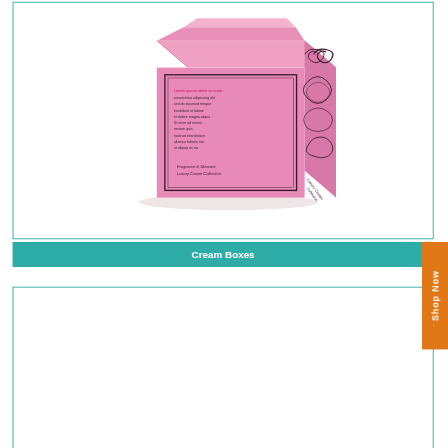[Figure (photo): Pink cream box with decorative black border design and ornamental scrollwork on a white background, viewed at an angle showing top and front faces]
Cream Boxes
[Figure (logo): Custom Printed Boxes logo — an open box icon in teal and orange-red above the text 'Custom Printed Boxes: Printing & Packaging Solution']
[Figure (photo): Black cosmetic mascara box and mascara tube with silver/metallic text partially visible, shown on white background]